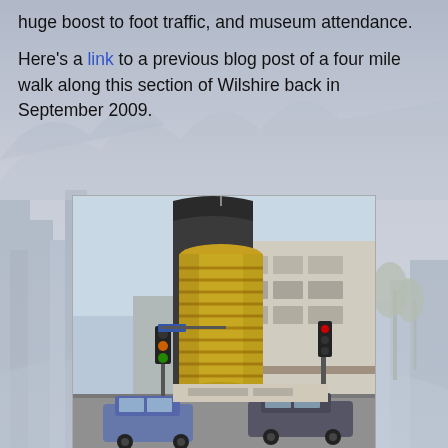huge boost to foot traffic, and museum attendance.

Here's a link to a previous blog post of a four mile walk along this section of Wilshire back in September 2009.
[Figure (photo): Street-level photo of a distinctive building on Wilshire Blvd with a gold cylindrical tower element at the corner and a dark curved facade, with cars in the intersection below and street lights visible.]